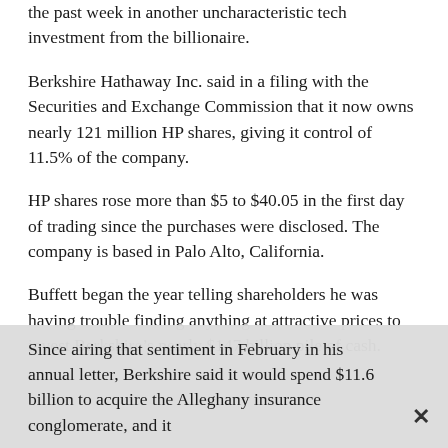the past week in another uncharacteristic tech investment from the billionaire.
Berkshire Hathaway Inc. said in a filing with the Securities and Exchange Commission that it now owns nearly 121 million HP shares, giving it control of 11.5% of the company.
HP shares rose more than $5 to $40.05 in the first day of trading since the purchases were disclosed. The company is based in Palo Alto, California.
Buffett began the year telling shareholders he was having trouble finding anything at attractive prices to invest Berkshire’s nearly $147 billion pile of cash.
Since airing that sentiment in February in his annual letter, Berkshire said it would spend $11.6 billion to acquire the Alleghany insurance conglomerate, and it